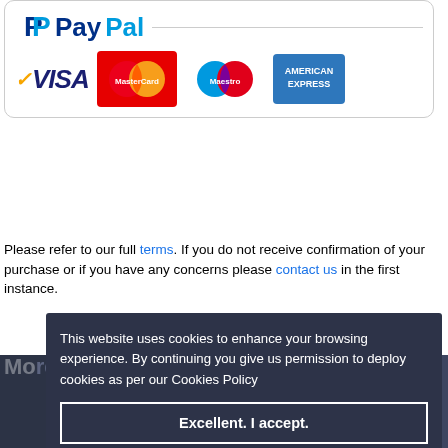[Figure (logo): Payment logos: PayPal, VISA, MasterCard, Maestro, American Express inside a rounded rectangle border]
Please refer to our full terms. If you do not receive confirmation of your purchase or if you have any concerns please contact us in the first instance.
This website uses cookies to enhance your browsing experience. By continuing you give us permission to deploy cookies as per our Cookies Policy
Excellent. I accept.